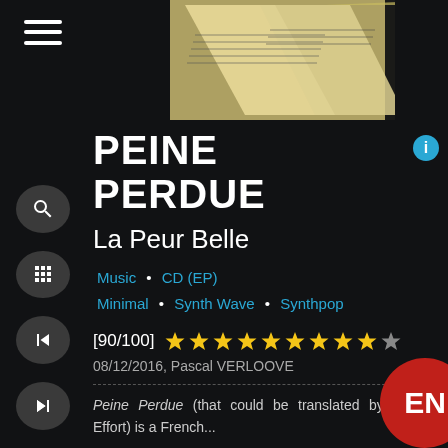[Figure (photo): Album cover or music sheet image, dark background with sheet music pages visible]
PEINE PERDUE
La Peur Belle
Music • CD (EP)
Minimal • Synth Wave • Synthpop
[90/100] ★★★★★★★★★☆
08/12/2016, Pascal VERLOOVE
Peine Perdue (that could be translated by Wasted Effort) is a French...